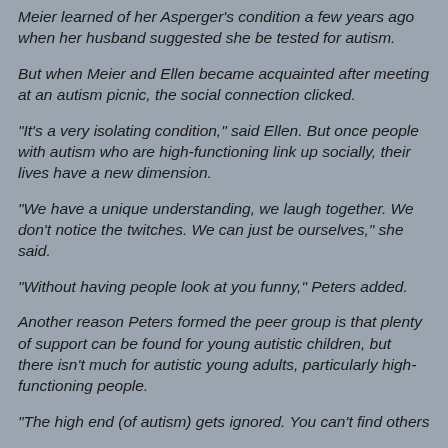Meier learned of her Asperger's condition a few years ago when her husband suggested she be tested for autism.
But when Meier and Ellen became acquainted after meeting at an autism picnic, the social connection clicked.
"It's a very isolating condition," said Ellen. But once people with autism who are high-functioning link up socially, their lives have a new dimension.
"We have a unique understanding, we laugh together. We don't notice the twitches. We can just be ourselves," she said.
"Without having people look at you funny," Peters added.
Another reason Peters formed the peer group is that plenty of support can be found for young autistic children, but there isn't much for autistic young adults, particularly high-functioning people.
"The high end (of autism) gets ignored. You can't find others like it," Peters said.